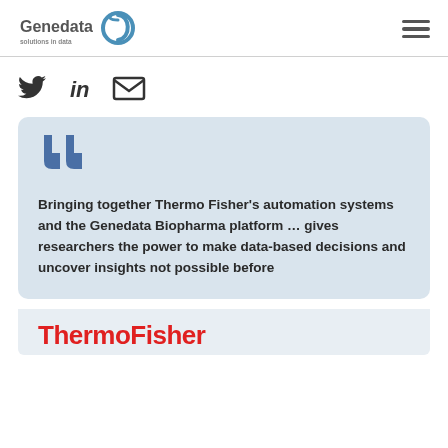[Figure (logo): Genedata logo with circular blue swirl icon]
[Figure (illustration): Hamburger menu icon (three horizontal lines)]
[Figure (illustration): Social media icons: Twitter bird, LinkedIn 'in', envelope/email]
Bringing together Thermo Fisher’s automation systems and the Genedata Biopharma platform … gives researchers the power to make data-based decisions and uncover insights not possible before
[Figure (logo): ThermoFisher logo in bold red text]